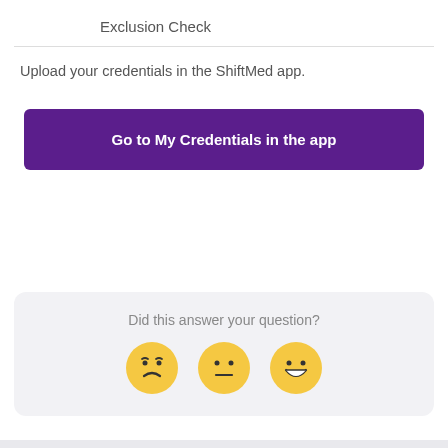Exclusion Check
Upload your credentials in the ShiftMed app.
[Figure (other): Purple button labeled 'Go to My Credentials in the app']
[Figure (other): Feedback widget with 'Did this answer your question?' and three emoji faces: sad, neutral, happy]
Did this answer your question?